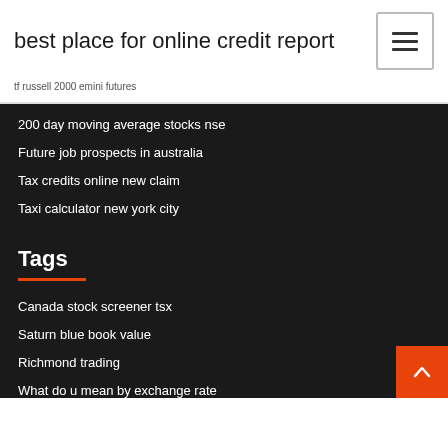best place for online credit report
tf russell 2000 emini futures
200 day moving average stocks nse
Future job prospects in australia
Tax credits online new claim
Taxi calculator new york city
Tags
Canada stock screener tsx
Saturn blue book value
Richmond trading
What do u mean by exchange rate